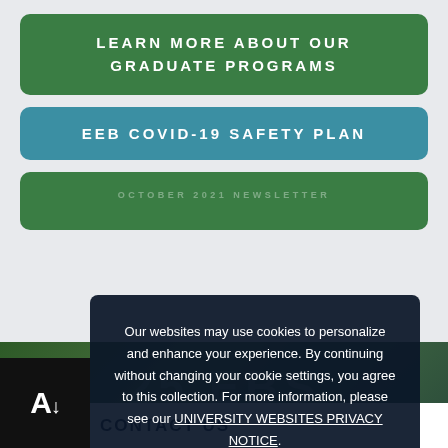LEARN MORE ABOUT OUR GRADUATE PROGRAMS
EEB COVID-19 SAFETY PLAN
[Figure (screenshot): Green leafy background photo strip with large text '25 EBS' partially visible]
Our websites may use cookies to personalize and enhance your experience. By continuing without changing your cookie settings, you agree to this collection. For more information, please see our UNIVERSITY WEBSITES PRIVACY NOTICE.
OK ✓
[Figure (logo): Accessibility logo: black square with large white A and downward arrow]
CONTACT US